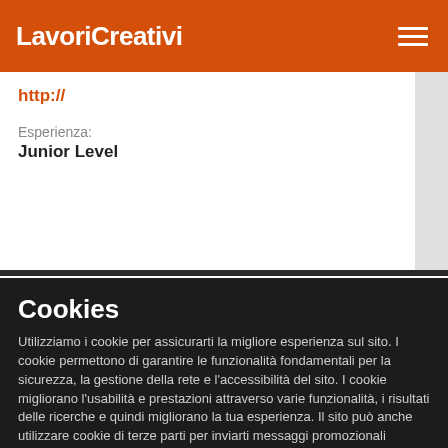LavoriCreativi
http://
Esperienza:
Junior Level
Cookies
Utilizziamo i cookie per assicurarti la migliore esperienza sul sito. I cookie permettono di garantire le funzionalità fondamentali per la sicurezza, la gestione della rete e l'accessibilità del sito. I cookie migliorano l'usabilità e prestazioni attraverso varie funzionalità, i risultati delle ricerche e quindi migliorano la tua esperienza. Il sito può anche utilizzare cookie di terze parti per inviarti messaggi promozionali personalizzati.
✓ Accettare | Cambia impostazioni ⚙ | Leggi di più